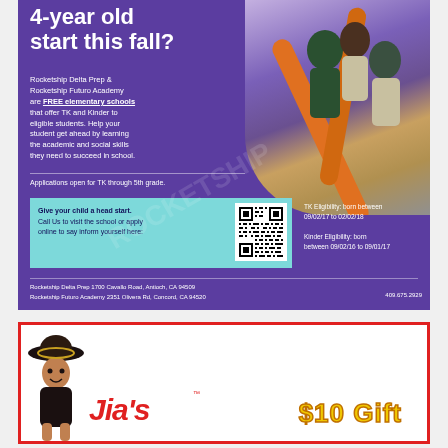4-year old start this fall?
Rocketship Delta Prep & Rocketship Futuro Academy are FREE elementary schools that offer TK and Kinder to eligible students. Help your student get ahead by learning the academic and social skills they need to succeed in school.
Applications open for TK through 5th grade.
Give your child a head start. Call Us to visit the school or apply online to say inform yourself here:
TK Eligibility: born between 09/02/17 to 02/02/18
Kinder Eligibility: born between 09/02/16 to 09/01/17
[Figure (photo): Children playing on playground equipment with orange bars]
[Figure (other): QR code for school application]
Rocketship Delta Prep 1700 Cavallo Road, Antioch, CA 94509
Rocketship Futuro Academy 2351 Olivera Rd, Concord, CA 94520
409.675.2929
[Figure (logo): Jia's restaurant logo with mascot character in sombrero]
$10 Gift